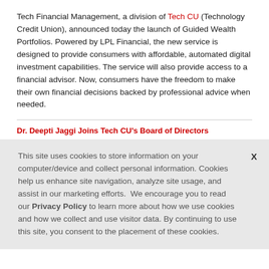Tech Financial Management, a division of Tech CU (Technology Credit Union), announced today the launch of Guided Wealth Portfolios. Powered by LPL Financial, the new service is designed to provide consumers with affordable, automated digital investment capabilities. The service will also provide access to a financial advisor. Now, consumers have the freedom to make their own financial decisions backed by professional advice when needed.
Dr. Deepti Jaggi Joins Tech CU's Board of Directors
This site uses cookies to store information on your computer/device and collect personal information. Cookies help us enhance site navigation, analyze site usage, and assist in our marketing efforts.  We encourage you to read our Privacy Policy to learn more about how we use cookies and how we collect and use visitor data. By continuing to use this site, you consent to the placement of these cookies.